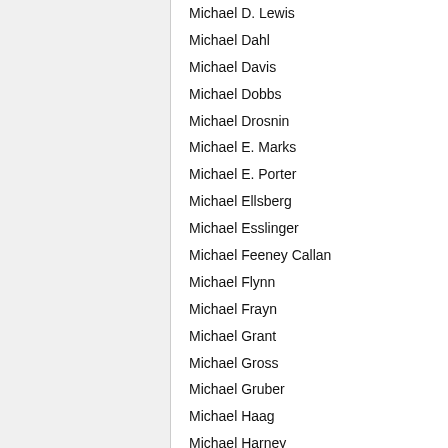Michael D. Lewis
Michael Dahl
Michael Davis
Michael Dobbs
Michael Drosnin
Michael E. Marks
Michael E. Porter
Michael Ellsberg
Michael Esslinger
Michael Feeney Callan
Michael Flynn
Michael Frayn
Michael Grant
Michael Gross
Michael Gruber
Michael Haag
Michael Harney
Michael Hastings
Michael Herzfeld
Michael Hingson
Michael Holley
Michael J. Braddick
Michael J. Fox